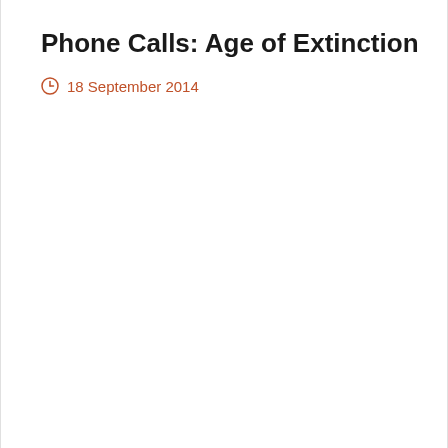Phone Calls: Age of Extinction
18 September 2014